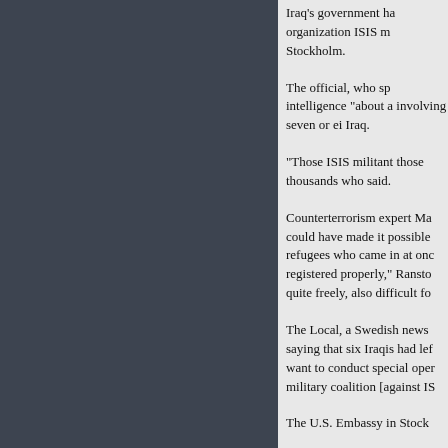Iraq's government ha organization ISIS m Stockholm.
The official, who sp intelligence "about a involving seven or ei Iraq.
"Those ISIS militant those thousands who said.
Counterterrorism expert Ma could have made it possible refugees who came in at onc registered properly," Ransto quite freely, also difficult fo
The Local, a Swedish news saying that six Iraqis had lef want to conduct special oper military coalition [against IS
The U.S. Embassy in Stock